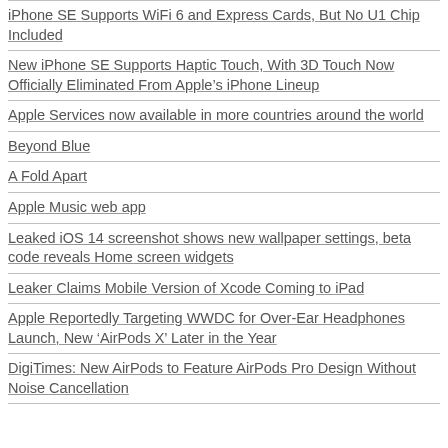iPhone SE Supports WiFi 6 and Express Cards, But No U1 Chip Included
New iPhone SE Supports Haptic Touch, With 3D Touch Now Officially Eliminated From Apple’s iPhone Lineup
Apple Services now available in more countries around the world
Beyond Blue
A Fold Apart
Apple Music web app
Leaked iOS 14 screenshot shows new wallpaper settings, beta code reveals Home screen widgets
Leaker Claims Mobile Version of Xcode Coming to iPad
Apple Reportedly Targeting WWDC for Over-Ear Headphones Launch, New ‘AirPods X’ Later in the Year
DigiTimes: New AirPods to Feature AirPods Pro Design Without Noise Cancellation